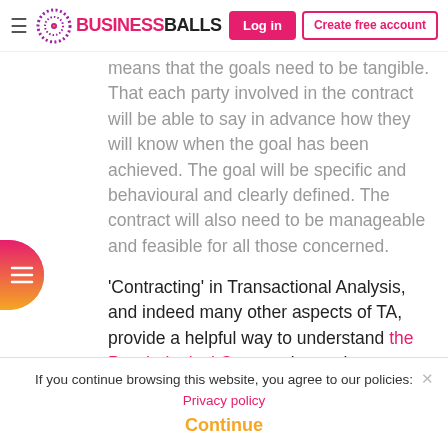BUSINESSBALLS | Log in | Create free account
means that the goals need to be tangible. That each party involved in the contract will be able to say in advance how they will know when the goal has been achieved. The goal will be specific and behavioural and clearly defined. The contract will also need to be manageable and feasible for all those concerned.
'Contracting' in Transactional Analysis, and indeed many other aspects of TA, provide a helpful way to understand the Psychological Contract in employment and similar organizational relationships.
If you continue browsing this website, you agree to our policies: Privacy policy | Continue